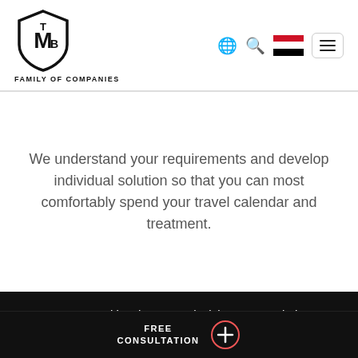[Figure (logo): MTB Family of Companies logo with shield emblem and text 'FAMILY OF COMPANIES']
We understand your requirements and develop individual solution so that you can most comfortably spend your travel calendar and treatment.
We use cookies, just to track visits to our website, we store no personal details.
What are cookies?
Accept cookies
FREE CONSULTATION +